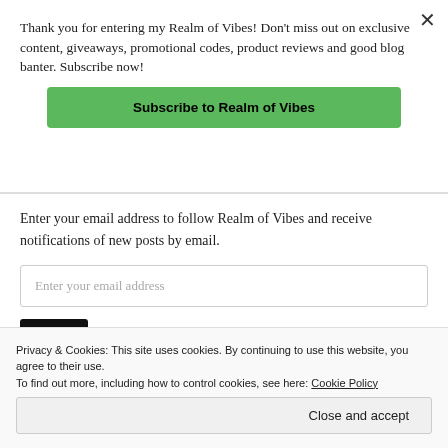Thank you for entering my Realm of Vibes! Don't miss out on exclusive content, giveaways, promotional codes, product reviews and good blog banter. Subscribe now!
Subscribe to Realm of Vibes
Enter your email address to follow Realm of Vibes and receive notifications of new posts by email.
Enter your email address
Privacy & Cookies: This site uses cookies. By continuing to use this website, you agree to their use. To find out more, including how to control cookies, see here: Cookie Policy
Close and accept